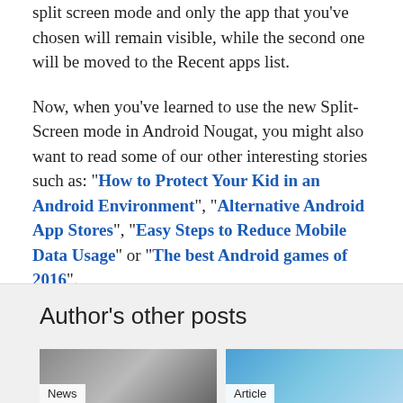split screen mode and only the app that you've chosen will remain visible, while the second one will be moved to the Recent apps list.
Now, when you've learned to use the new Split-Screen mode in Android Nougat, you might also want to read some of our other interesting stories such as: "How to Protect Your Kid in an Android Environment", "Alternative Android App Stores", "Easy Steps to Reduce Mobile Data Usage" or "The best Android games of 2016".
Author's other posts
[Figure (photo): Two thumbnail images side by side labeled 'News' and 'Article']